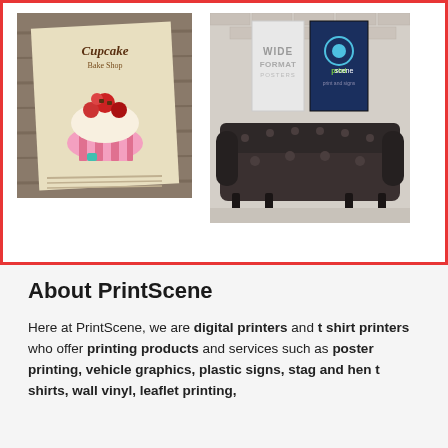[Figure (photo): Cupcake bakery poster/flyer displayed on a wooden surface, showing illustrated cupcake with cherries and decorative text]
[Figure (photo): Wide format posters advertisement from PrintScene showing two posters (one grey, one navy blue with PrintScene logo) hanging on a brick wall above a dark leather Chesterfield sofa]
About PrintScene
Here at PrintScene, we are digital printers and t shirt printers who offer printing products and services such as poster printing, vehicle graphics, plastic signs, stag and hen t shirts, wall vinyl, leaflet printing,